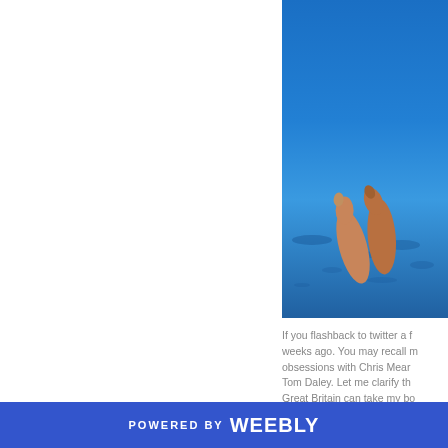[Figure (photo): A photograph showing a diver's legs and feet against a bright blue sky and water background. The diver appears to be mid-dive, with pointed toes visible, set against vivid blue tones.]
If you flashback to twitter a f... weeks ago. You may recall m... obsessions with Chris Mear... Tom Daley. Let me clarify th... Great Britain can take my bo...
POWERED BY weebly